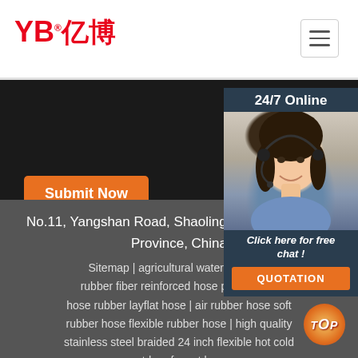[Figure (logo): YB亿博 company logo in red with registered trademark symbol]
[Figure (other): Hamburger menu icon (three horizontal lines) in a bordered square]
[Figure (photo): Dark hero banner section with Submit Now orange button]
[Figure (photo): 24/7 Online panel with customer service agent photo, 'Click here for free chat!' text, and QUOTATION orange button]
No.11, Yangshan Road, Shaoling District, Luoyang Province, China
Sitemap | agricultural water irrigation rubber fiber reinforced hose pipe rubber hose rubber layflat hose | air rubber hose soft rubber hose flexible rubber hose | high quality stainless steel braided 24 inch flexible hot cold outdoor faucet hose